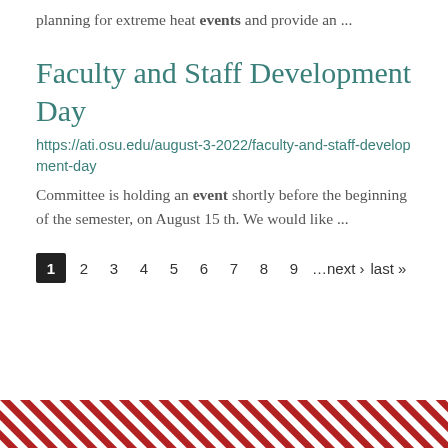planning for extreme heat events and provide an ...
Faculty and Staff Development Day
https://ati.osu.edu/august-3-2022/faculty-and-staff-development-day
Committee is holding an event shortly before the beginning of the semester, on August 15 th. We would like ...
1 2 3 4 5 6 7 8 9 …next › last »